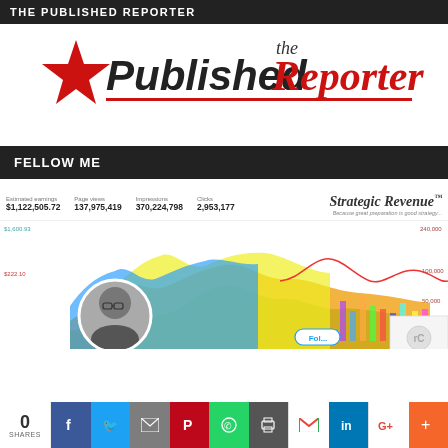THE PUBLISHED REPORTER
[Figure (logo): The Published Reporter logo with red star and italic text]
FELLOW ME
[Figure (screenshot): Strategic Revenue dashboard screenshot showing: Estimated earnings $1,122,505.72, Page views 137,975,419, Impressions 370,224,798, Clicks 2,953,177, with colorful area chart below and a circular profile photo of a man with glasses]
[Figure (infographic): Social share bar with 0 SHARES and icons: Facebook, Twitter, Email, Pinterest, WhatsApp, Print, Gmail, LinkedIn, Google+, More]